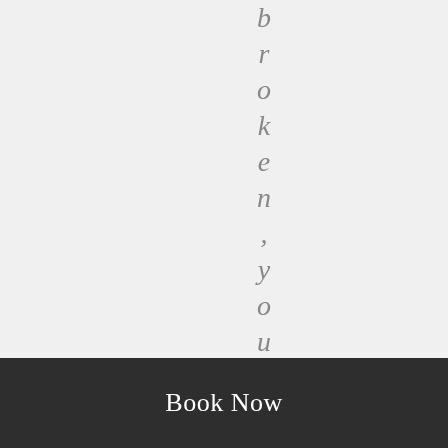broken, you maybe sub-e
Book Now